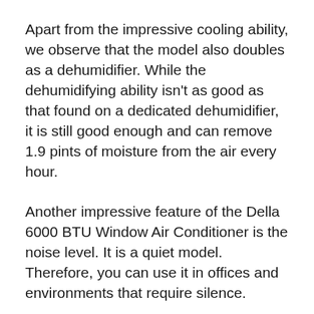Apart from the impressive cooling ability, we observe that the model also doubles as a dehumidifier. While the dehumidifying ability isn't as good as that found on a dedicated dehumidifier, it is still good enough and can remove 1.9 pints of moisture from the air every hour.
Another impressive feature of the Della 6000 BTU Window Air Conditioner is the noise level. It is a quiet model. Therefore, you can use it in offices and environments that require silence.
Installation of the unit is simple. Della has provided an installation kit, so you don't have to make any extra purchases.